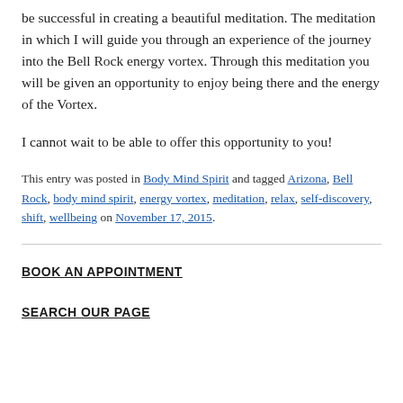be successful in creating a beautiful meditation. The meditation in which I will guide you through an experience of the journey into the Bell Rock energy vortex. Through this meditation you will be given an opportunity to enjoy being there and the energy of the Vortex.
I cannot wait to be able to offer this opportunity to you!
This entry was posted in Body Mind Spirit and tagged Arizona, Bell Rock, body mind spirit, energy vortex, meditation, relax, self-discovery, shift, wellbeing on November 17, 2015.
BOOK AN APPOINTMENT
SEARCH OUR PAGE